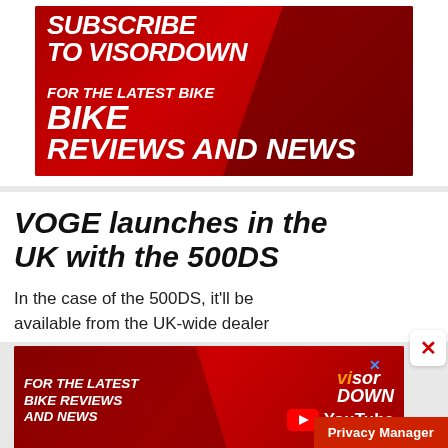[Figure (advertisement): Red advertisement banner for Visordown website. Bold italic white text reads: SUBSCRIBE TO VISORDOWN FOR THE LATEST BIKE REVIEWS AND NEWS. Background features motorcycle silhouette on red gradient.]
VOGE launches in the UK with the 500DS
In the case of the 500DS, it'll be available from the UK-wide dealer
[Figure (advertisement): Red advertisement banner for Visordown YouTube channel. Text reads: FOR THE LATEST BIKE REVIEWS AND NEWS. Visordown logo and YouTube logo on right side.]